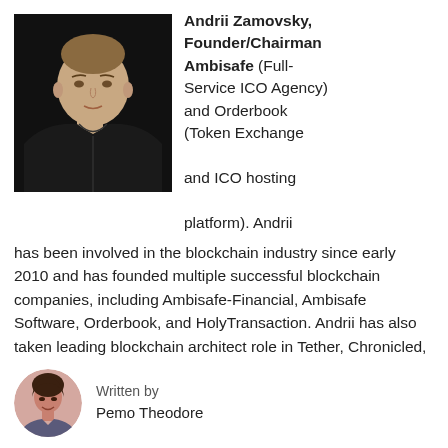[Figure (photo): Headshot of Andrii Zamovsky, a young man in a black hoodie against a dark background]
Andrii Zamovsky, Founder/Chairman Ambisafe (Full-Service ICO Agency) and Orderbook (Token Exchange and ICO hosting platform). Andrii has been involved in the blockchain industry since early 2010 and has founded multiple successful blockchain companies, including Ambisafe-Financial, Ambisafe Software, Orderbook, and HolyTransaction. Andrii has also taken leading blockchain architect role in Tether, Chronicled, Prony and dozens of other
[Figure (photo): Small circular avatar photo of Pemo Theodore, a woman with dark hair smiling]
Written by
Pemo Theodore